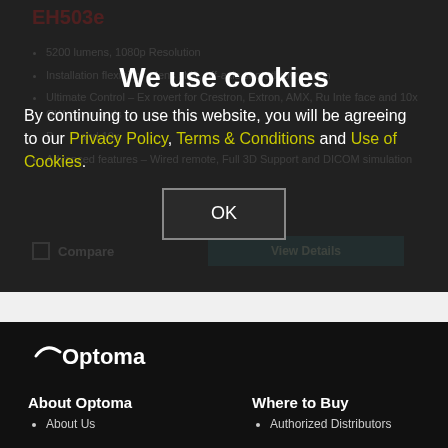EH503e
5200 lumens, 1080p Resolution
Installation flexibility – lens shift, off-axis short throw option
Ultimate Control – Extrovert for Crestron, Extron, AMX, Ru Interface and 10x GW commands
P... and 10x...
Advanced features – Wired remote, Full 3D Support and DICOM simulation
We use cookies
By continuing to use this website, you will be agreeing to our Privacy Policy, Terms & Conditions and Use of Cookies.
OK
[Figure (logo): Optoma logo in white on black background]
About Optoma
About Us
Where to Buy
Authorized Distributors